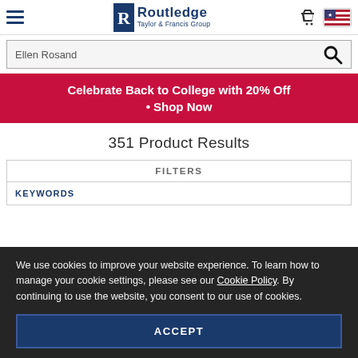Routledge Taylor & Francis Group
Ellen Rosand
[Figure (infographic): Red promotional banner reading: Celebrate Back to College with 20% Off • Shop Now]
351 Product Results
| FILTERS |
| --- |
| KEYWORDS |
We use cookies to improve your website experience. To learn how to manage your cookie settings, please see our Cookie Policy. By continuing to use the website, you consent to our use of cookies.
ACCEPT